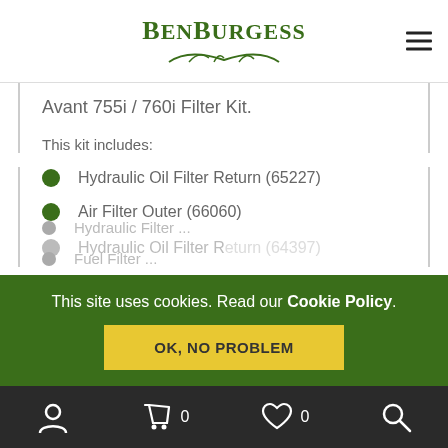BenBurgess
Avant 755i / 760i Filter Kit.
This kit includes:
Hydraulic Oil Filter Return (65227)
Air Filter Outer (66060)
Hydraulic Oil Filter Return (64397)
(partially visible item)
(partially visible item)
This site uses cookies. Read our Cookie Policy.
OK, NO PROBLEM
0  0